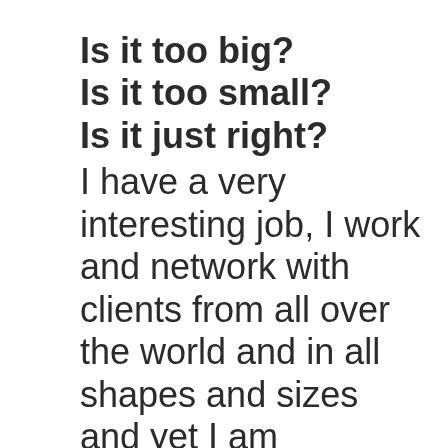Is it too big?
Is it too small?
Is it just right?
I have a very interesting job, I work and network with clients from all over the world and in all shapes and sizes and yet I am constantly amazed